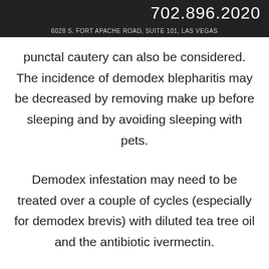702.896.2020
6028 S. FORT APACHE ROAD, SUITE 101, LAS VEGAS
punctal cautery can also be considered. The incidence of demodex blepharitis may be decreased by removing make up before sleeping and by avoiding sleeping with pets.
Demodex infestation may need to be treated over a couple of cycles (especially for demodex brevis) with diluted tea tree oil and the antibiotic ivermectin.